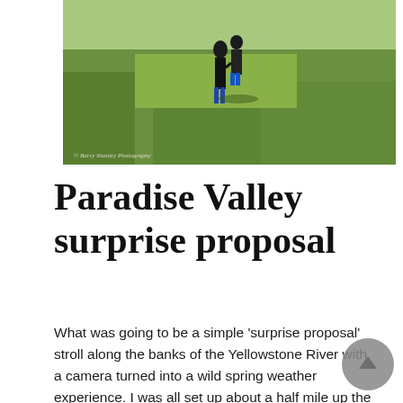[Figure (photo): A couple standing in a green grassy field, photographed from a distance. One person is lifting the other. Photo credit watermark visible in bottom-left corner.]
Paradise Valley surprise proposal
What was going to be a simple 'surprise proposal' stroll along the banks of the Yellowstone River with a camera turned into a wild spring weather experience. I was all set up about a half mile up the river bank at the Yellowstone Valley Lodge when a weather front blew in with a rage. It came with such force that I had to run for my vehicle to take cover and somehow the lightening caused